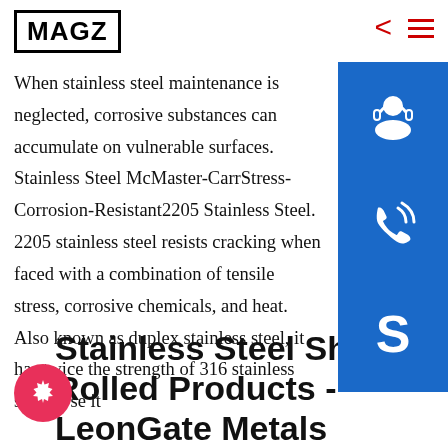MAGZ
When stainless steel maintenance is neglected, corrosive substances can accumulate on vulnerable surfaces. Stainless Steel McMaster-CarrStress-Corrosion-Resistant2205 Stainless Steel. 2205 stainless steel resists cracking when faced with a combination of tensile stress, corrosive chemicals, and heat. Also known as duplex stainless steel, it has twice the strength of 316 stainless steel. Use it
[Figure (infographic): Three blue square buttons on the right side: customer support icon (headset/person), phone icon, and Skype icon]
Stainless Steel Sheet & Rolled Products - LeonGate Metals